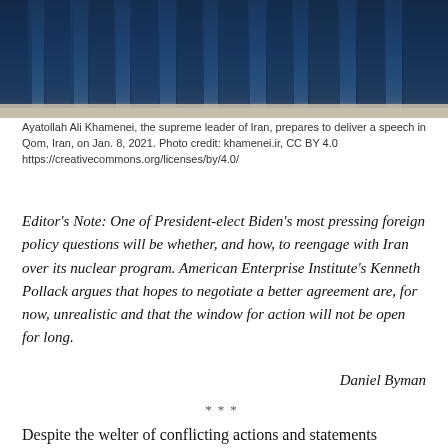[Figure (photo): Blue draped fabric/curtains, appears to be a backdrop for a formal speech setting. Dark blue tones throughout.]
Ayatollah Ali Khamenei, the supreme leader of Iran, prepares to deliver a speech in Qom, Iran, on Jan. 8, 2021. Photo credit: khamenei.ir, CC BY 4.0 https://creativecommons.org/licenses/by/4.0/
Editor's Note: One of President-elect Biden's most pressing foreign policy questions will be whether, and how, to reengage with Iran over its nuclear program. American Enterprise Institute's Kenneth Pollack argues that hopes to negotiate a better agreement are, for now, unrealistic and that the window for action will not be open for long.
Daniel Byman
***
Despite the welter of conflicting actions and statements coming from senior Iranian leaders, it